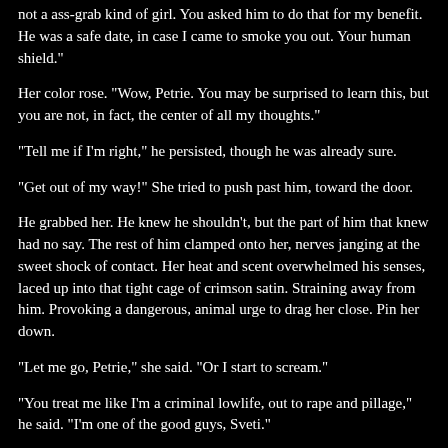not a ass-grab kind of girl. You asked him to do that for my benefit. He was a safe date, in case I came to smoke you out. Your human shield."
Her color rose. "Wow, Petrie. You may be surprised to learn this, but you are not, in fact, the center of all my thoughts."
"Tell me if I'm right," he persisted, though he was already sure.
"Get out of my way!" She tried to push past him, toward the door.
He grabbed her. He knew he shouldn't, but the part of him that knew had no say. The rest of him clamped onto her, nerves janging at the sweet shock of contact. Her heat and scent overwhelmed his senses, laced up into that tight cage of crimson satin. Straining away from him. Provoking a dangerous, animal urge to drag her close. Pin her down.
"Let me go, Petrie," she said. "Or I start to scream."
"You treat me like I'm a criminal lowlife, out to rape and pillage," he said. "I'm one of the good guys, Sveti."